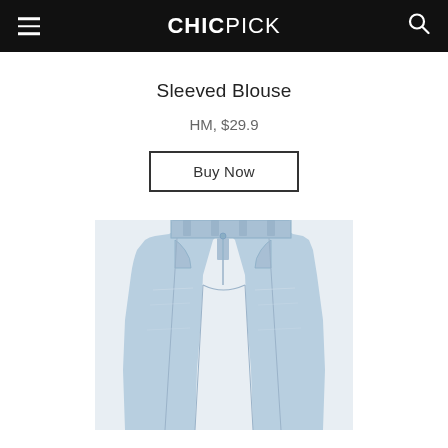CHICPICK
Sleeved Blouse
HM, $29.9
Buy Now
[Figure (photo): Light blue wide-leg denim jeans laid flat on a light grey background, showing the waistband with belt loops and pockets visible from the front.]